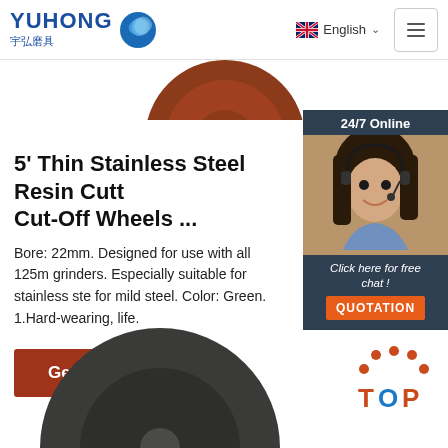YUHONG 宇弘磨具 — English
[Figure (screenshot): Partial view of a red/brown circular grinding disc at top center of page]
5' Thin Stainless Steel Resin Cutt Cut-Off Wheels ...
Bore: 22mm. Designed for use with all 125m grinders. Especially suitable for stainless ste for mild steel. Color: Green. 1.Hard-wearing, life.
[Figure (photo): Chat support widget showing a smiling woman with headset, labeled 24/7 Online with a 'Click here for free chat!' message and QUOTATION button]
Get Price
[Figure (photo): Dark grey circular abrasive cut-off wheel disc, partially visible at bottom of page]
[Figure (other): TOP navigation button with orange dots and text in orange and blue]